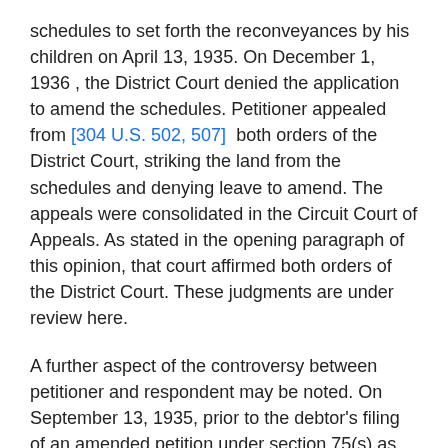schedules to set forth the reconveyances by his children on April 13, 1935. On December 1, 1936 , the District Court denied the application to amend the schedules. Petitioner appealed from [304 U.S. 502, 507]  both orders of the District Court, striking the land from the schedules and denying leave to amend. The appeals were consolidated in the Circuit Court of Appeals. As stated in the opening paragraph of this opinion, that court affirmed both orders of the District Court. These judgments are under review here.
A further aspect of the controversy between petitioner and respondent may be noted. On September 13, 1935, prior to the debtor's filing of an amended petition under section 75(s) as amended, respondent instituted an action in the state court for possession of the 80.31 acres. A judgment overruling a defense grounded on the bankruptcy proceedings, and awarding possession and damages to respondent, was affirmed by the Supreme Court of Indiana